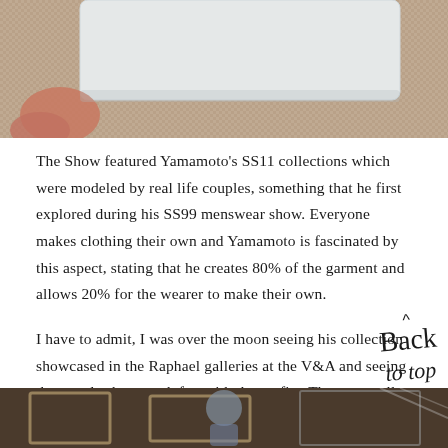[Figure (photo): Top portion of a photo showing a person holding a white card/paper against a beige/tan textured background]
The Show featured Yamamoto's SS11 collections which were modeled by real life couples, something that he first explored during his SS99 menswear show. Everyone makes clothing their own and Yamamoto is fascinated by this aspect, stating that he creates 80% of the garment and allows 20% for the wearer to make their own.
I have to admit, I was over the moon seeing his collection showcased in the Raphael galleries at the V&A and seeing the couples have such fun with the outfits. They were all so achingly cool and the whole show was oh SO SWOONWORTHY!
[Figure (photo): Bottom portion of a photo showing people in what appears to be a gallery setting with ornate frames visible]